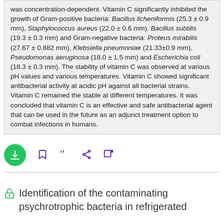was concentration-dependent. Vitamin C significantly inhibited the growth of Gram-positive bacteria: Bacillus licheniformis (25.3 ± 0.9 mm), Staphylococcus aureus (22.0 ± 0.6 mm), Bacillus subtilis (19.3 ± 0.3 mm) and Gram-negative bacteria: Proteus mirabilis (27.67 ± 0.882 mm), Klebsiella pneumoniae (21.33±0.9 mm), Pseudomonas aeruginosa (18.0 ± 1.5 mm) and Escherichia coli (18.3 ± 0.3 mm). The stability of vitamin C was observed at various pH values and various temperatures. Vitamin C showed significant antibacterial activity at acidic pH against all bacterial strains. Vitamin C remained the stable at different temperatures. It was concluded that vitamin C is an effective and safe antibacterial agent that can be used in the future as an adjunct treatment option to combat infections in humans.
[Figure (other): Action bar with download button (green circle with down arrow), bookmark icon, quote icon, share icon, and external link icon — all in purple except the download button]
Identification of the contaminating psychrotrophic bacteria in refrigerated